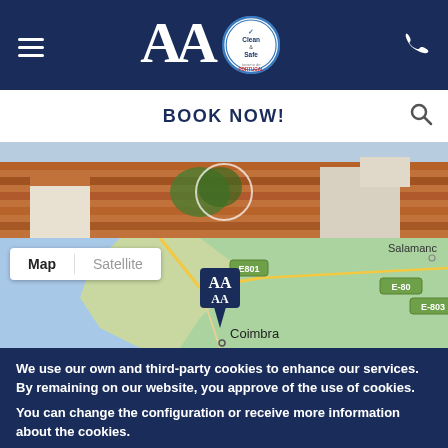Navigation bar with hamburger menu, AA logo, Clean & Safe badge, phone icon
BOOK NOW!
[Figure (screenshot): Aerial photo of Coimbra rooftops with terracotta tiles]
[Figure (map): Google Map showing Coimbra, Portugal with AA hotel marker. Map/Satellite toggle visible. Roads E801, E-80, E-803 visible. Salamanca label at top right.]
We use our own and third-party cookies to enhance our services. By remaining on our website, you approve of the use of cookies.
You can change the configuration or receive more information about the cookies.
OK, I agree
No, give me more info